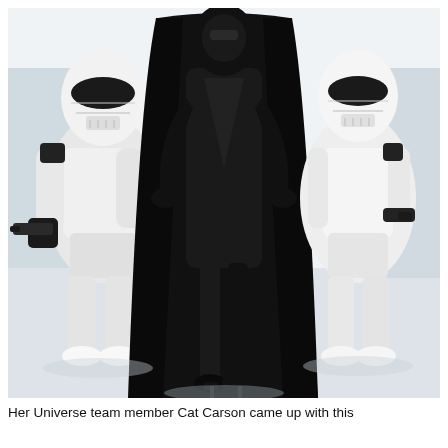[Figure (photo): A person dressed in an all-black outfit resembling a Star Wars villain (similar to Kylo Ren or a Sith), wearing a black full-body suit, long black cape/coat, black gloves, and black high heels, standing with hands on hips in a dominant pose. Flanked on each side by two Stormtrooper cosplayers in white armor against a bright white background.]
Her Universe team member Cat Carson came up with this